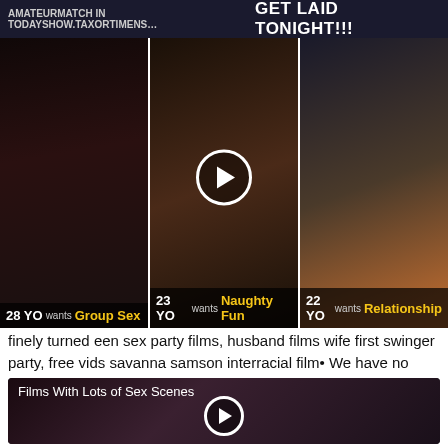AmateurMatch In todayshow.taxortimens... GET LAID TONIGHT!!!
[Figure (photo): Three adult thumbnail images in a row. Left: 28 YO wants Group Sex. Middle (with play button): 23 YO wants Naughty Fun. Right: 22 YO wants Relationship.]
finely turned een sex party films, husband films wife first swinger party, free vids savanna samson interracial film• We have no control over the content of these pages.
[Figure (photo): Video thumbnail titled 'Films With Lots of Sex Scenes' with a play button overlay.]